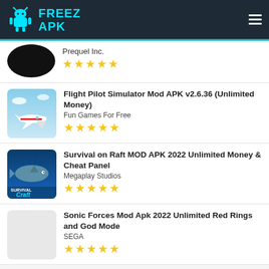FREEZ APK
Prequel Inc. ★★★★★
Flight Pilot Simulator Mod APK v2.6.36 (Unlimited Money) - Fun Games For Free ★★★★★
Survival on Raft MOD APK 2022 Unlimited Money & Cheat Panel - Megaplay Studios ★★★★★
Sonic Forces Mod Apk 2022 Unlimited Red Rings and God Mode - SEGA ★★★★★